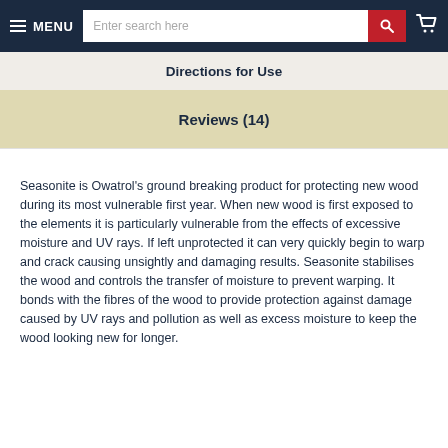MENU | Enter search here | [search] [cart]
Directions for Use
Reviews (14)
Seasonite is Owatrol's ground breaking product for protecting new wood during its most vulnerable first year. When new wood is first exposed to the elements it is particularly vulnerable from the effects of excessive moisture and UV rays. If left unprotected it can very quickly begin to warp and crack causing unsightly and damaging results. Seasonite stabilises the wood and controls the transfer of moisture to prevent warping. It bonds with the fibres of the wood to provide protection against damage caused by UV rays and pollution as well as excess moisture to keep the wood looking new for longer.